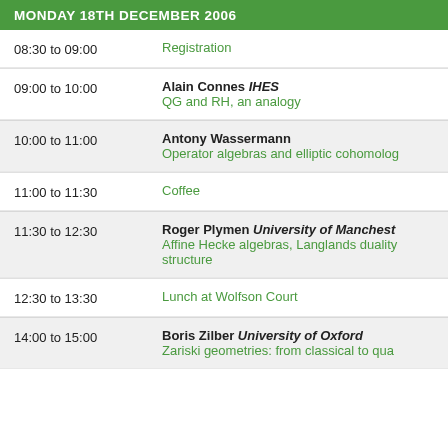MONDAY 18TH DECEMBER 2006
| Time | Event |
| --- | --- |
| 08:30 to 09:00 | Registration |
| 09:00 to 10:00 | Alain Connes IHES – QG and RH, an analogy |
| 10:00 to 11:00 | Antony Wassermann – Operator algebras and elliptic cohomology |
| 11:00 to 11:30 | Coffee |
| 11:30 to 12:30 | Roger Plymen University of Manchester – Affine Hecke algebras, Langlands duality structure |
| 12:30 to 13:30 | Lunch at Wolfson Court |
| 14:00 to 15:00 | Boris Zilber University of Oxford – Zariski geometries: from classical to quantum |